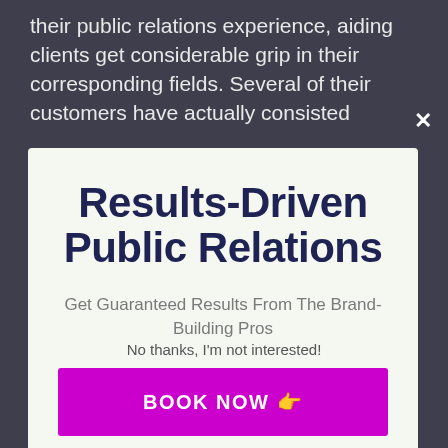their public relations experience, aiding clients get considerable grip in their corresponding fields. Several of their customers have actually consisted
Results-Driven Public Relations
Get Guaranteed Results From The Brand-Building Pros
BOOK NOW 👉
No thanks, I'm not interested!
of these plans to make a substantial range of services which include the following services: